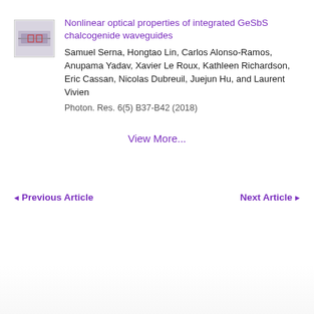[Figure (photo): Thumbnail image of integrated waveguide chip/device setup]
Nonlinear optical properties of integrated GeSbS chalcogenide waveguides
Samuel Serna, Hongtao Lin, Carlos Alonso-Ramos, Anupama Yadav, Xavier Le Roux, Kathleen Richardson, Eric Cassan, Nicolas Dubreuil, Juejun Hu, and Laurent Vivien
Photon. Res. 6(5) B37-B42 (2018)
View More...
◄Previous Article
Next Article ►